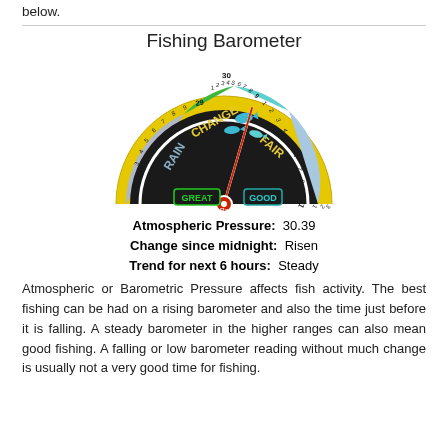below.
[Figure (other): Fishing Barometer gauge showing atmospheric pressure zones: Rain, Change, Fair. Needle pointing to approximately 30.39 in the Fair/Good zone. Labels: GREAT (green), GOOD (teal). Scale from 29 to 31. Fish icons in green zone.]
Fishing Barometer
Atmospheric Pressure:  30.39
Change since midnight:  Risen
Trend for next 6 hours:  Steady
Atmospheric or Barometric Pressure affects fish activity. The best fishing can be had on a rising barometer and also the time just before it is falling. A steady barometer in the higher ranges can also mean good fishing. A falling or low barometer reading without much change is usually not a very good time for fishing.